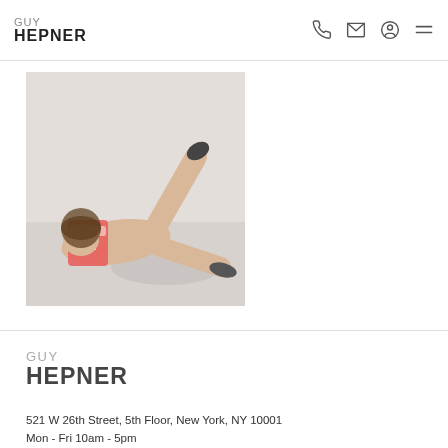GUY HEPNER
[Figure (photo): A person lying on the floor with legs raised, holding a colorful box, viewed from above. Fashion/art photography.]
GUY HEPNER
521 W 26th Street, 5th Floor, New York, NY 10001
Mon - Fri 10am - 5pm